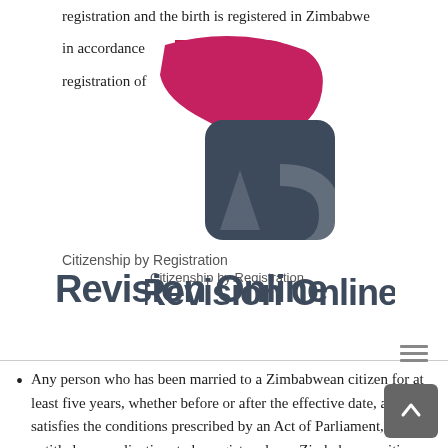registration and the birth is registered in Zimbabwe in accordance [logo] ting to the registration of [logo]
[Figure (logo): Revision Online logo — stylized AC letters in pink/magenta and dark blue/slate, with text 'Citizenship by Registration' and 'Revision Online' in bold dark grey]
Citizenship by Registration
Any person who has been married to a Zimbabwean citizen for at least five years, whether before or after the effective date, and who satisfies the conditions prescribed by an Act of Parliament, is entitled, on application, to be registered as a Zimbabwean citizen
Any person who has been continuously and lawfully